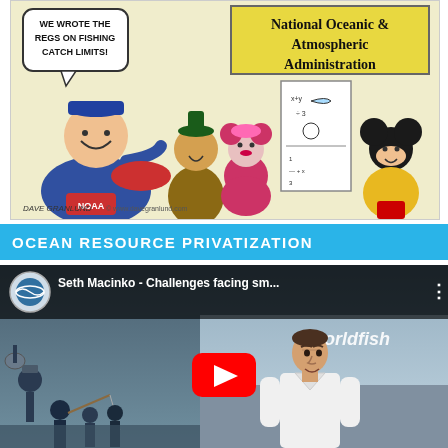[Figure (illustration): Editorial cartoon by Dave Granlund showing a fisherman and Disney characters (Goofy, Minnie Mouse, Mickey Mouse, Donald Duck) in front of a NOAA sign. The fisherman has a speech bubble saying 'WE WROTE THE REGS ON FISHING CATCH LIMITS!' and the sign reads 'National Oceanic & Atmospheric Administration'. Attribution: DAVE GRANLUND and www.davegranlund.com]
OCEAN RESOURCE PRIVATIZATION
[Figure (screenshot): YouTube video thumbnail for 'Seth Macinko - Challenges facing sm...' with a worldfish branding visible. Shows a man in a white shirt speaking, with a YouTube play button overlay. Bottom left shows a fishing scene with people.]